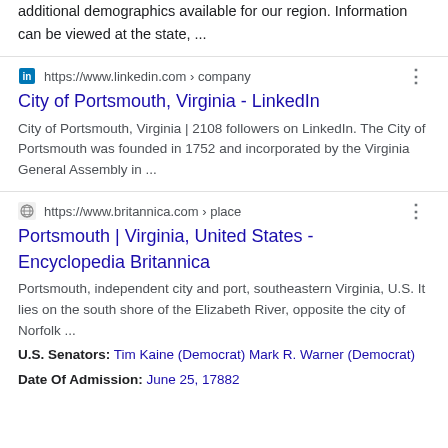additional demographics available for our region. Information can be viewed at the state, ...
https://www.linkedin.com › company
City of Portsmouth, Virginia - LinkedIn
City of Portsmouth, Virginia | 2108 followers on LinkedIn. The City of Portsmouth was founded in 1752 and incorporated by the Virginia General Assembly in ...
https://www.britannica.com › place
Portsmouth | Virginia, United States - Encyclopedia Britannica
Portsmouth, independent city and port, southeastern Virginia, U.S. It lies on the south shore of the Elizabeth River, opposite the city of Norfolk ...
U.S. Senators: Tim Kaine (Democrat) Mark R. Warner (Democrat)
Date Of Admission: June 25, 17882